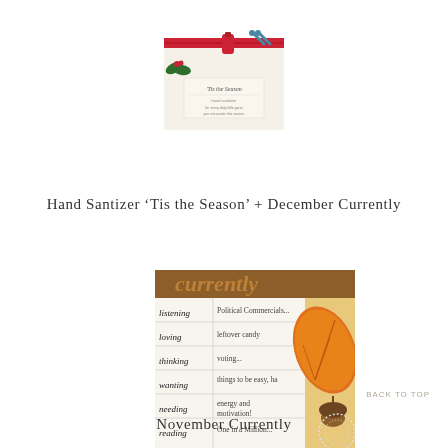[Figure (photo): Small thumbnail image of a holiday hand sanitizer gift set with 'Tis the Season' label, featuring Christmas-themed decorations including ribbon and greenery.]
Hand Santizer 'Tis the Season' + December Currently
[Figure (photo): Image of a 'Currently' worksheet/template with autumn theme (orange leaf, acorn). Rows labeled: listening - Political Commercials..., loving - leftover candy, thinking - voting..., wanting - things to be easy, ha, needing - energy and motivation!, reading - One in a Million.]
November Currently
BACK TO TOP